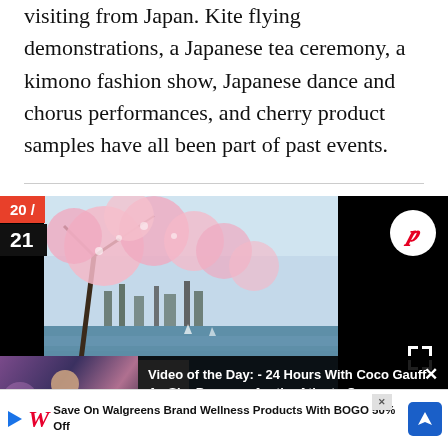visiting from Japan. Kite flying demonstrations, a Japanese tea ceremony, a kimono fashion show, Japanese dance and chorus performances, and cherry product samples have all been part of past events.
[Figure (photo): Cherry blossom tree in bloom over a lake or river with a city skyline in the background, on a clear day. Overlaid with a date badge showing 20/21. Pinterest and fullscreen icons visible.]
[Figure (photo): Video overlay showing a person with locs standing near a wall, with text 'Video of the Day: - 24 Hours With Coco Gauff As She Prepares for the Atlanta Open'. Close X button in top right.]
places
he city's J
rees
Save On Walgreens Brand Wellness Products With BOGO 50% Off